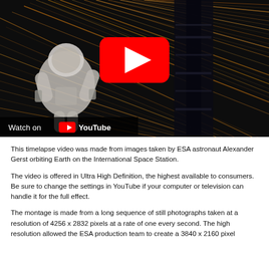[Figure (screenshot): YouTube video thumbnail showing an astronaut on a spacewalk at the International Space Station with light trails in the background. A large red YouTube play button is centered on the image. A 'Watch on YouTube' bar appears at the bottom left.]
This timelapse video was made from images taken by ESA astronaut Alexander Gerst orbiting Earth on the International Space Station.
The video is offered in Ultra High Definition, the highest available to consumers. Be sure to change the settings in YouTube if your computer or television can handle it for the full effect.
The montage is made from a long sequence of still photographs taken at a resolution of 4256 x 2832 pixels at a rate of one every second. The high resolution allowed the ESA production team to create a 3840 x 2160 pixel...